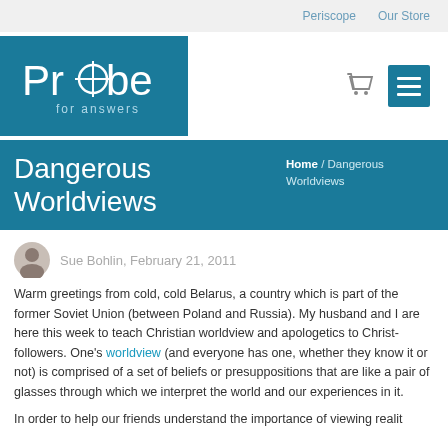Periscope  Our Store
[Figure (logo): Probe for answers logo - teal background with white stylized text]
Dangerous Worldviews
Home / Dangerous Worldviews
Sue Bohlin, February 21, 2011
Warm greetings from cold, cold Belarus, a country which is part of the former Soviet Union (between Poland and Russia). My husband and I are here this week to teach Christian worldview and apologetics to Christ-followers. One's worldview (and everyone has one, whether they know it or not) is comprised of a set of beliefs or presuppositions that are like a pair of glasses through which we interpret the world and our experiences in it.
In order to help our friends understand the importance of viewing reality